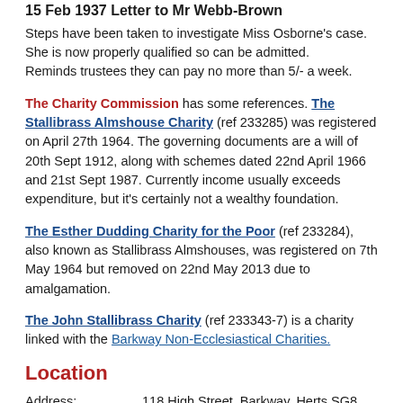15 Feb 1937 Letter to Mr Webb-Brown
Steps have been taken to investigate Miss Osborne's case. She is now properly qualified so can be admitted.
Reminds trustees they can pay no more than 5/- a week.
The Charity Commission has some references. The Stallibrass Almshouse Charity (ref 233285) was registered on April 27th 1964. The governing documents are a will of 20th Sept 1912, along with schemes dated 22nd April 1966 and 21st Sept 1987. Currently income usually exceeds expenditure, but it's certainly not a wealthy foundation.
The Esther Dudding Charity for the Poor (ref 233284), also known as Stallibrass Almshouses, was registered on 7th May 1964 but removed on 22nd May 2013 due to amalgamation.
The John Stallibrass Charity (ref 233343-7) is a charity linked with the Barkway Non-Ecclesiastical Charities.
Location
Address:   118 High Street, Barkway, Herts SG8 8EG